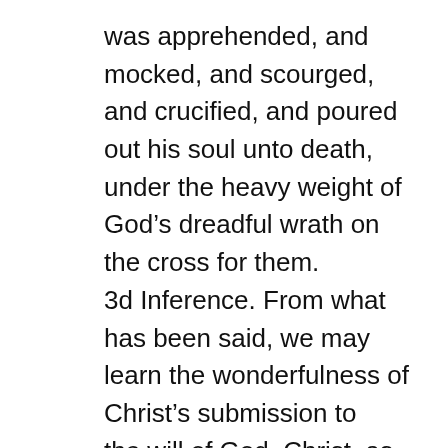was apprehended, and mocked, and scourged, and crucified, and poured out his soul unto death, under the heavy weight of God's dreadful wrath on the cross for them. 3d Inference. From what has been said, we may learn the wonderfulness of Christ's submission to the will of God. Christ, as he was a divine person, was the absolute sovereign of heaven and earth, but yet he was the most wonderful instance of submission to God's sovereignty that ever was. When he had such a view of the